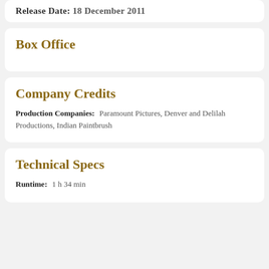Release Date: 18 December 2011
Box Office
Company Credits
Production Companies: Paramount Pictures, Denver and Delilah Productions, Indian Paintbrush
Technical Specs
Runtime: 1 h 34 min